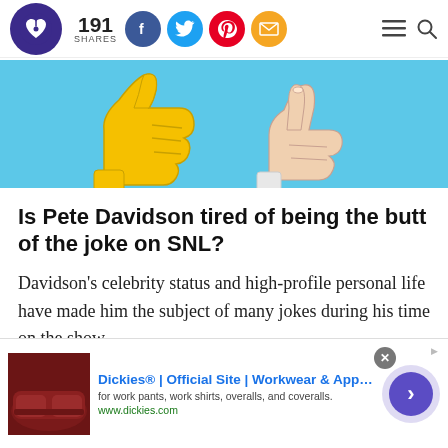191 SHARES — social share bar with Facebook, Twitter, Pinterest, Email icons; hamburger menu and search
[Figure (illustration): Banner image on cyan/light-blue background showing a yellow cartoon thumbs-up hand on the left and a realistic illustrated hand pointing with index finger on the right.]
Is Pete Davidson tired of being the butt of the joke on SNL?
Davidson's celebrity status and high-profile personal life have made him the subject of many jokes during his time on the show.
[Figure (screenshot): Advertisement overlay: Dickies® | Official Site | Workwear & Apparel. 'for work pants, work shirts, overalls, and coveralls. www.dickies.com'. Shows image of leather furniture on left, purple circular arrow button on right.]